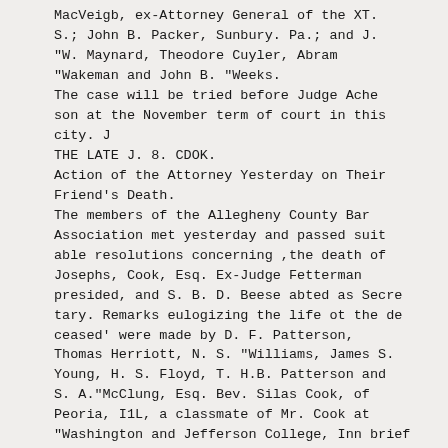MacVeigb, ex-Attorney General of the XT. S.; John B. Packer, Sunbury. Pa.; and J. "W. Maynard, Theodore Cuyler, Abram "Wakeman and John B. "Weeks.
The case will be tried before Judge Ache son at the November term of court in this city. J
THE LATE J. 8. CDOK.
Action of the Attorney Yesterday on Their Friend's Death.
The members of the Allegheny County Bar Association met yesterday and passed suit able resolutions concerning ,the death of Josephs, Cook, Esq. Ex-Judge Fetterman presided, and S. B. D. Beese abted as Secre tary. Remarks eulogizing the life ot the de ceased' were made by D. F. Patterson, Thomas Herriott, N. S. "Williams, James S. Young, H. S. Floyd, T. H.B. Patterson and S. A."McClung, Esq. Bev. Silas Cook, of Peoria, I1L, a classmate of Mr. Cook at "Washington and Jefferson College, Inn brief address testified to the many virtues of bis deceased friend.